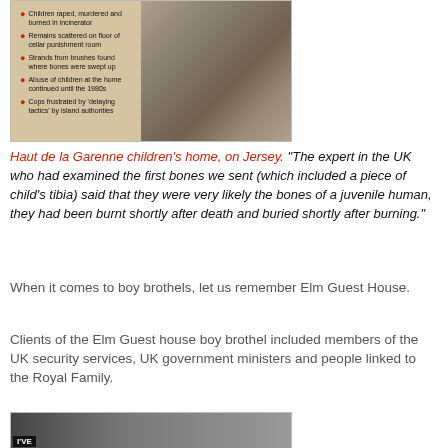[Figure (photo): Haut de la Garenne children's home photo showing ruins/interior with a bulletin board overlay listing bullet points about abuses]
Haut de la Garenne children's home, on Jersey. "The expert in the UK who had examined the first bones we sent (which included a piece of child's tibia) said that they were very likely the bones of a juvenile human, they had been burnt shortly after death and buried shortly after burning."
When it comes to boy brothels, let us remember Elm Guest House.
Clients of the Elm Guest house boy brothel included members of the UK security services, UK government ministers and people linked to the Royal Family.
[Figure (photo): Partially visible photograph at bottom of page with 'I'VE' text visible]